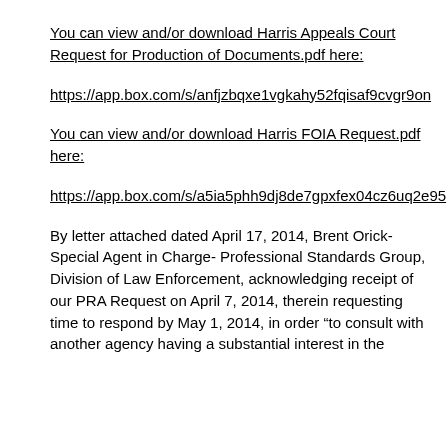You can view and/or download Harris Appeals Court Request for Production of Documents.pdf here:
https://app.box.com/s/anfjzbqxe1vgkahy52fqisaf9cvgr9on
You can view and/or download Harris FOIA Request.pdf here:
https://app.box.com/s/a5ia5phh9dj8de7gpxfex04cz6uq2e95
By letter attached dated April 17, 2014, Brent Orick- Special Agent in Charge- Professional Standards Group, Division of Law Enforcement, acknowledging receipt of our PRA Request on April 7, 2014, therein requesting time to respond by May 1, 2014, in order "to consult with another agency having a substantial interest in the